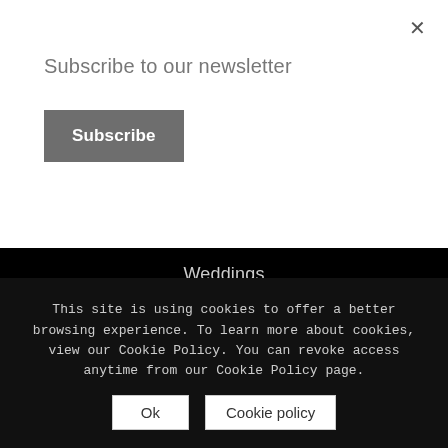×
Subscribe to our newsletter
Subscribe
Weddings
Facilities
Offers
Privacy Notice
Cookie Policy
This site is using cookies to offer a better browsing experience. To learn more about cookies, view our Cookie Policy. You can revoke access anytime from our Cookie Policy page.
Ok
Cookie policy